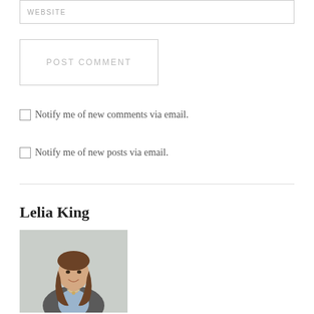WEBSITE
POST COMMENT
Notify me of new comments via email.
Notify me of new posts via email.
Lelia King
[Figure (photo): Portrait photo of a young woman with long brown hair, wearing a light blue top and dark grey cardigan, smiling, against a neutral background.]